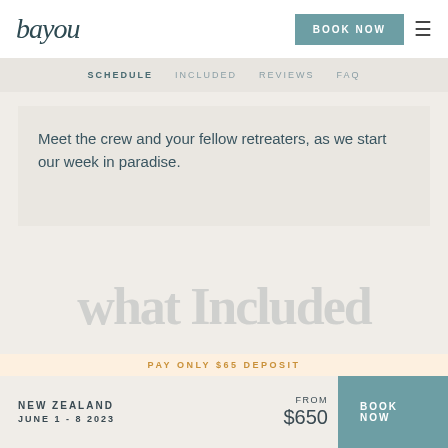bayou
SCHEDULE  INCLUDED  REVIEWS  FAQ
Meet the crew and your fellow retreaters, as we start our week in paradise.
what Included
PAY ONLY $65 DEPOSIT
NEW ZEALAND
JUNE 1 - 8 2023
FROM
$650
BOOK NOW